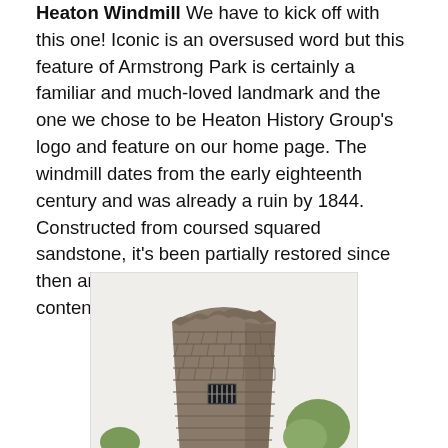Heaton Windmill We have to kick off with this one! Iconic is an oversused word but this feature of Armstrong Park is certainly a familiar and much-loved landmark and the one we chose to be Heaton History Group's logo and feature on our home page. The windmill dates from the early eighteenth century and was already a ruin by 1844. Constructed from coursed squared sandstone, it's been partially restored since then and is grade 2 listed. Has to be a contender.
[Figure (photo): Photograph of the Heaton Windmill, a cylindrical stone tower built from coursed squared sandstone, with a small barred window visible near the middle. Trees are visible in the background.]